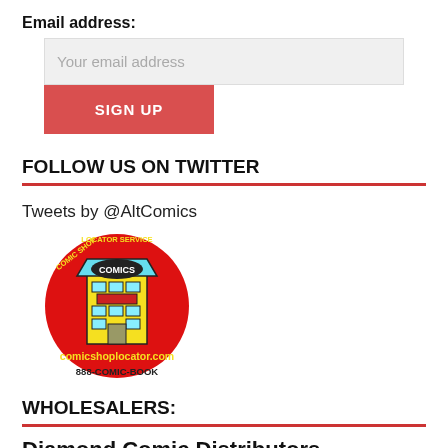Email address:
Your email address
SIGN UP
FOLLOW US ON TWITTER
Tweets by @AltComics
[Figure (logo): Comic Shop Locator Service logo with yellow comic book building on red circle. Text: comicshoplocator.com, 888-COMIC-BOOK]
WHOLESALERS:
Diamond Comic Distributors